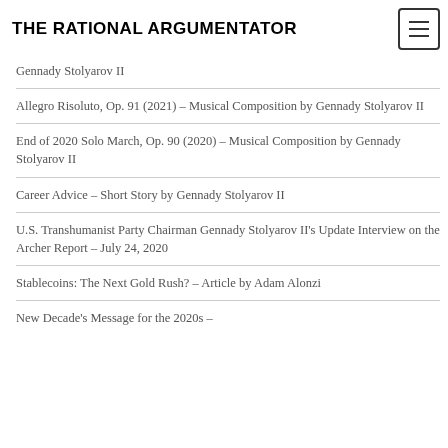THE RATIONAL ARGUMENTATOR
Gennady Stolyarov II
Allegro Risoluto, Op. 91 (2021) – Musical Composition by Gennady Stolyarov II
End of 2020 Solo March, Op. 90 (2020) – Musical Composition by Gennady Stolyarov II
Career Advice – Short Story by Gennady Stolyarov II
U.S. Transhumanist Party Chairman Gennady Stolyarov II's Update Interview on the Archer Report – July 24, 2020
Stablecoins: The Next Gold Rush? – Article by Adam Alonzi
New Decade's Message for the 2020s –